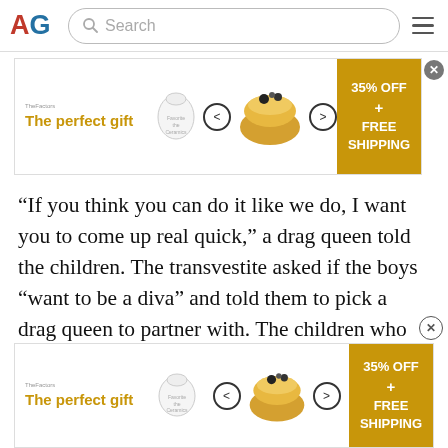AG Search
[Figure (screenshot): Advertisement banner: 'The perfect gift' with product imagery and '35% OFF + FREE SHIPPING' offer in gold/yellow color scheme]
“If you think you can do it like we do, I want you to come up real quick,” a drag queen told the children. The transvestite asked if the boys “want to be a diva” and told them to pick a drag queen to partner with. The children who attended the show appeared to be under ten years old, and included babies and toddlers.
[Figure (screenshot): Advertisement banner (bottom): 'The perfect gift' with product imagery and '35% OFF + FREE SHIPPING' offer in gold/yellow color scheme]